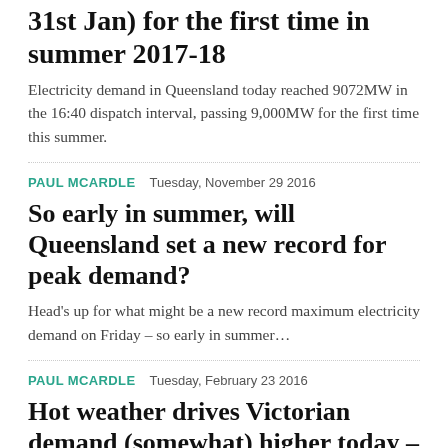31st Jan) for the first time in summer 2017-18
Electricity demand in Queensland today reached 9072MW in the 16:40 dispatch interval, passing 9,000MW for the first time this summer.
PAUL MCARDLE   Tuesday, November 29 2016
So early in summer, will Queensland set a new record for peak demand?
Head's up for what might be a new record maximum electricity demand on Friday – so early in summer…
PAUL MCARDLE   Tuesday, February 23 2016
Hot weather drives Victorian demand (somewhat) higher today – a rare excursion above 9,000MW